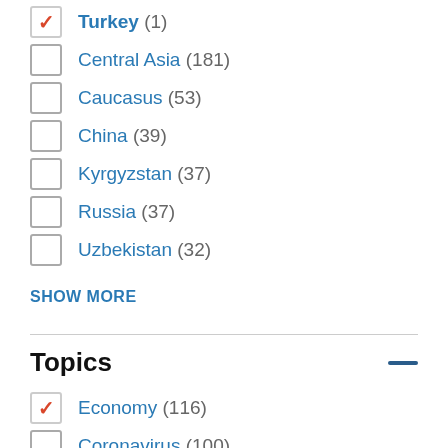Turkey (1) [checked]
Central Asia (181)
Caucasus (53)
China (39)
Kyrgyzstan (37)
Russia (37)
Uzbekistan (32)
SHOW MORE
Topics
Economy (116) [checked]
Coronavirus (100)